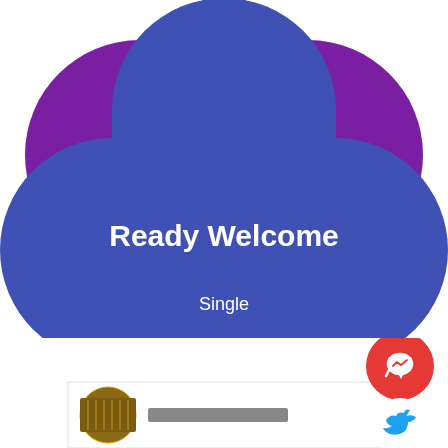[Figure (illustration): A blue four-leaf clover / flower shape on a purple background with text 'Ready Welcome', 'Single', and a 'Click Here' button inside the shape]
[Figure (screenshot): Bottom section showing a red circular Facebook Messenger icon button and a blue Twitter bird icon, plus a partial comment widget with a circular avatar image and rectangular placeholder text]
Ready Welcome
Single
Click Here